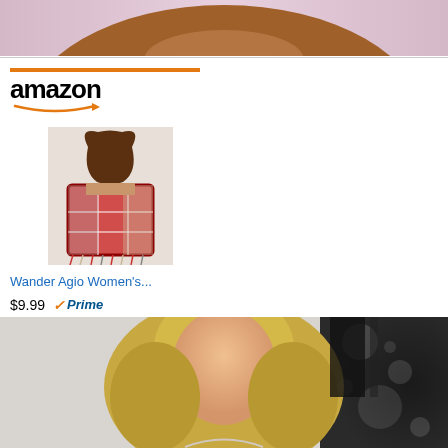[Figure (photo): Close-up of a person's torso/midsection with skin visible against a pink/purple background, cropped at top of page]
[Figure (infographic): Amazon advertisement block showing the Amazon logo with orange bar at top, a product image of a woman wearing a colorful plaid scarf, product title 'Wander Agio Women's...', price $9.99 with Prime badge, and a 'Shop now' button with Amazon icon]
[Figure (photo): Photo of a blonde woman at the bottom of the page, partially visible, with bokeh lights in background]